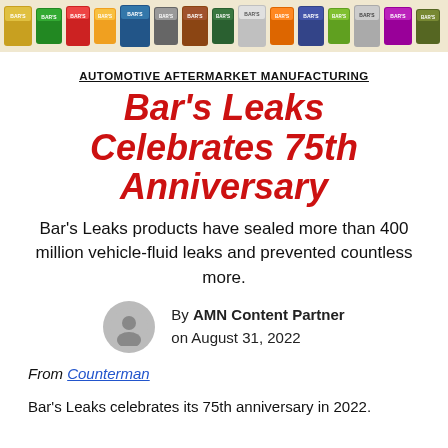[Figure (photo): Banner image showing a row of Bar's Leaks automotive product cans/bottles in various colors and sizes across the top of the page.]
AUTOMOTIVE AFTERMARKET MANUFACTURING
Bar's Leaks Celebrates 75th Anniversary
Bar's Leaks products have sealed more than 400 million vehicle-fluid leaks and prevented countless more.
By AMN Content Partner
on August 31, 2022
From Counterman
Bar's Leaks celebrates its 75th anniversary in 2022.